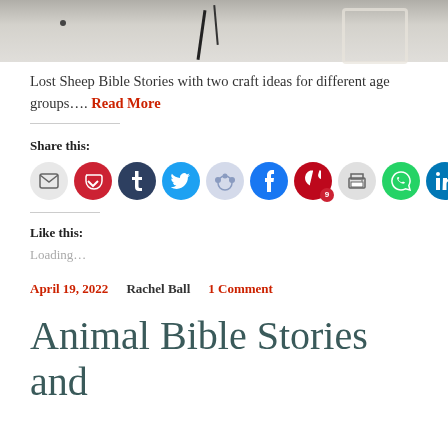[Figure (photo): Partial photo at top of page showing rope or fiber craft materials in gray/white tones with dark lines]
Lost Sheep Bible Stories with two craft ideas for different age groups.... Read More
Share this:
[Figure (infographic): Row of social sharing icon buttons: email, pocket, tumblr, twitter, reddit, facebook, pinterest (with badge 9), print, whatsapp, linkedin]
Like this:
Loading...
April 19, 2022    Rachel Ball    1 Comment
Animal Bible Stories and